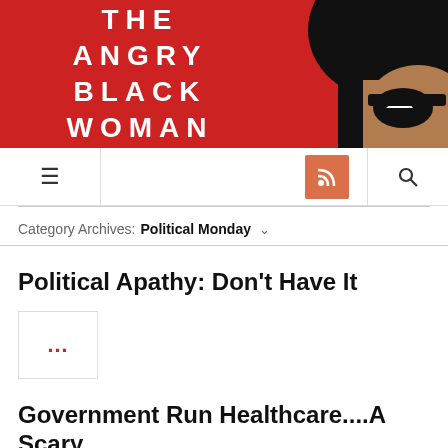[Figure (illustration): Website header banner with red background and stylized illustration of a Black woman's face on the right side. Text reads 'THE ANGRY BLACK WOMAN' in white bold spaced letters.]
THE ANGRY BLACK WOMAN
Navigation bar with hamburger menu, RSS feed button, and search icon
Category Archives: Political Monday
Political Apathy: Don't Have It
[Figure (other): Small placeholder box with red ellipsis (...) indicating a thumbnail image]
Government Run Healthcare....A Scary